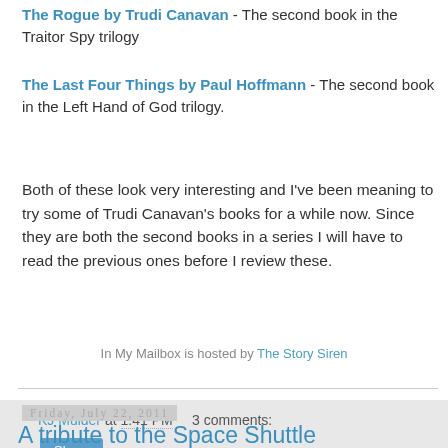The Rogue by Trudi Canavan - The second book in the Traitor Spy trilogy
The Last Four Things by Paul Hoffmann - The second book in the Left Hand of God trilogy.
Both of these look very interesting and I've been meaning to try some of Trudi Canavan's books for a while now. Since they are both the second books in a series I will have to read the previous ones before I review these.
In My Mailbox is hosted by The Story Siren
KJ Mulder at 1:41 PM    3 comments:
Share
Friday, July 22, 2011
A tribute to the Space Shuttle